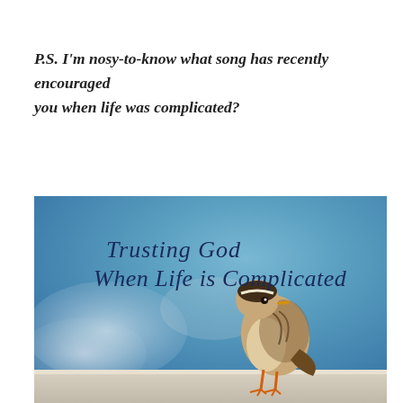P.S. I'm nosy-to-know what song has recently encouraged you when life was complicated?
[Figure (photo): A small sparrow bird perched on a ledge against a blurred blue sky background. Text overlay reads 'Trusting God When Life is Complicated' in dark blue decorative font.]